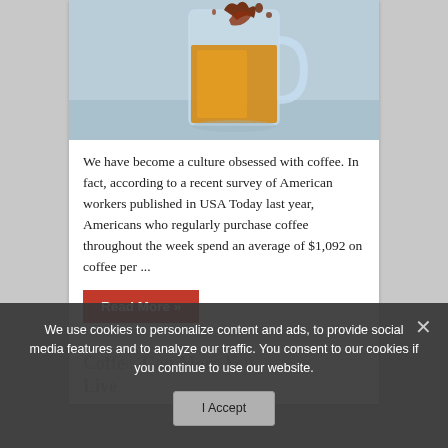[Figure (photo): A glass mug with amber-colored liquid (tea or coffee) and a dark liquid being poured in, creating a dramatic splash effect on a light background.]
We have become a culture obsessed with coffee. In fact, according to a recent survey of American workers published in USA Today last year, Americans who regularly purchase coffee throughout the week spend an average of $1,092 on coffee per ...
Read More »
We use cookies to personalize content and ads, to provide social media features and to analyze our traffic. You consent to our cookies if you continue to use our website.
I Accept